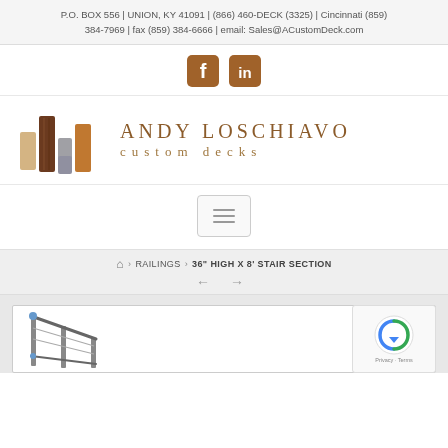P.O. BOX 556 | UNION, KY 41091 | (866) 460-DECK (3325) | Cincinnati (859) 384-7969 | fax (859) 384-6666 | email: Sales@ACustomDeck.com
[Figure (logo): Facebook and LinkedIn social media icons in brown/orange color]
[Figure (logo): Andy Loschiavo Custom Decks logo with colored wood plank icons and serif text]
[Figure (other): Hamburger menu navigation button]
Home > RAILINGS > 36" HIGH X 8' STAIR SECTION
[Figure (photo): Product photo of a 36 inch high x 8 foot stair section railing with metal posts and cables, partially visible]
[Figure (other): Google reCAPTCHA overlay widget with logo and Privacy/Terms text]